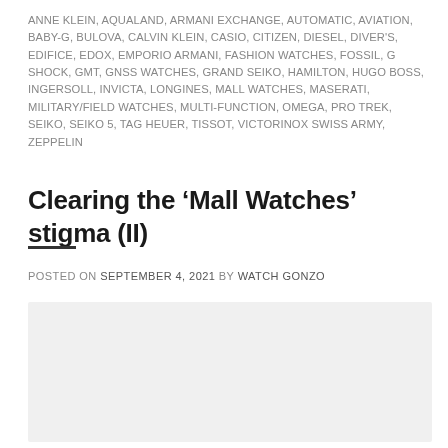ANNE KLEIN, AQUALAND, ARMANI EXCHANGE, AUTOMATIC, AVIATION, BABY-G, BULOVA, CALVIN KLEIN, CASIO, CITIZEN, DIESEL, DIVER'S, EDIFICE, EDOX, EMPORIO ARMANI, FASHION WATCHES, FOSSIL, G SHOCK, GMT, GNSS WATCHES, GRAND SEIKO, HAMILTON, HUGO BOSS, INGERSOLL, INVICTA, LONGINES, MALL WATCHES, MASERATI, MILITARY/FIELD WATCHES, MULTI-FUNCTION, OMEGA, PRO TREK, SEIKO, SEIKO 5, TAG HEUER, TISSOT, VICTORINOX SWISS ARMY, ZEPPELIN
Clearing the ‘Mall Watches’ stigma (II)
POSTED ON SEPTEMBER 4, 2021 BY WATCH GONZO
[Figure (other): Light grey image box with a black circular date badge showing 04 Sep]